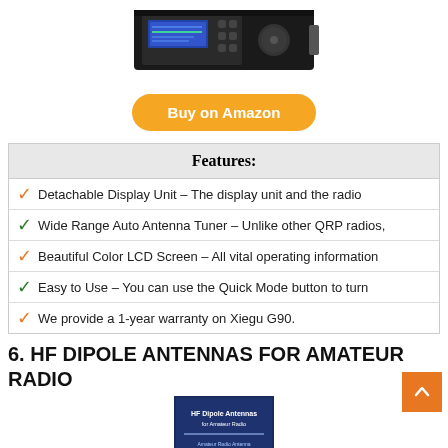[Figure (photo): Photo of a radio transceiver (Xiegu G90) at the top of the page]
[Figure (other): Orange 'Buy on Amazon' button]
Features:
Detachable Display Unit – The display unit and the radio
Wide Range Auto Antenna Tuner – Unlike other QRP radios,
Beautiful Color LCD Screen – All vital operating information
Easy to Use – You can use the Quick Mode button to turn
We provide a 1-year warranty on Xiegu G90.
6. HF DIPOLE ANTENNAS FOR AMATEUR RADIO
[Figure (photo): Book cover: HF Dipole Antennas for Amateur Radio]